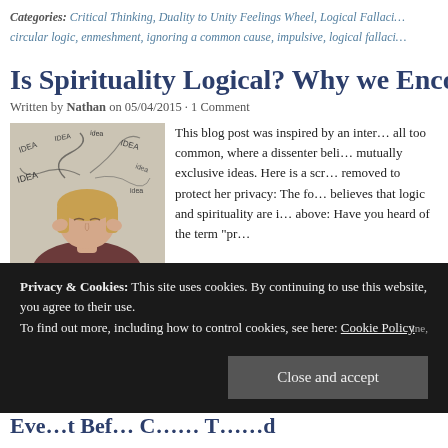Categories: Critical Thinking, Duality to Unity Feelings Wheel, Logical Fallaci...
circular logic, enmeshment, ignoring a common cause, impulsive, logical fallaci...
Is Spirituality Logical? Why we Enco...
Written by Nathan on 05/04/2015 · 1 Comment
[Figure (photo): Woman holding her temples with visible stress, with swirling word clouds including 'IDEA' around her head]
This blog post was inspired by an inter... all too common, where a dissenter beli... mutually exclusive ideas. Here is a scr... removed to protect her privacy: The fo... believes that logic and spirituality are i... above: Have you heard of the term "pr...
Privacy & Cookies: This site uses cookies. By continuing to use this website, you agree to their use. To find out more, including how to control cookies, see here: Cookie Policy
Close and accept